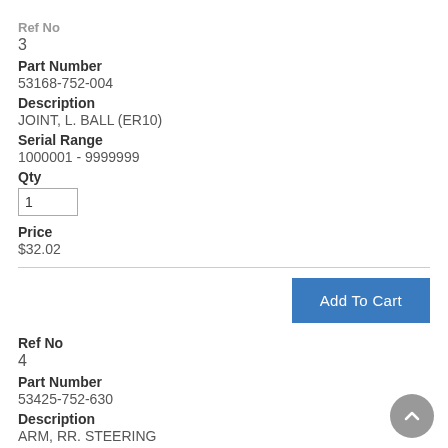Ref No
3
Part Number
53168-752-004
Description
JOINT, L. BALL (ER10)
Serial Range
1000001 - 9999999
Qty
1
Price
$32.02
Add To Cart
Ref No
4
Part Number
53425-752-630
Description
ARM, RR. STEERING